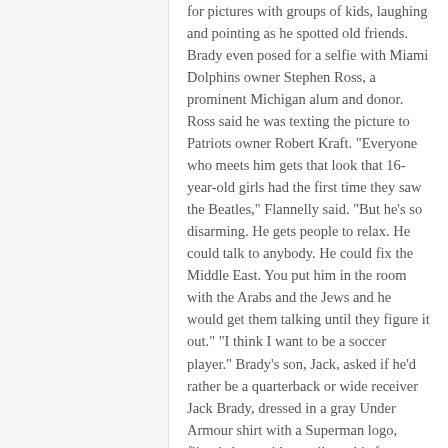for pictures with groups of kids, laughing and pointing as he spotted old friends. Brady even posed for a selfie with Miami Dolphins owner Stephen Ross, a prominent Michigan alum and donor. Ross said he was texting the picture to Patriots owner Robert Kraft. "Everyone who meets him gets that look that 16-year-old girls had the first time they saw the Beatles," Flannelly said. "But he's so disarming. He gets people to relax. He could talk to anybody. He could fix the Middle East. You put him in the room with the Arabs and the Jews and he would get them talking until they figure it out." "I think I want to be a soccer player." Brady's son, Jack, asked if he'd rather be a quarterback or wide receiver Jack Brady, dressed in a gray Under Armour shirt with a Superman logo, flitted about with a smile on his face, rarely taking his eyes off his father. At one point, according to someone who heard the exchange, one of Brady's friends asked Jack if he wanted to be a quarterback or a wide receiver when he grew up. Jack thought about it for a second, then